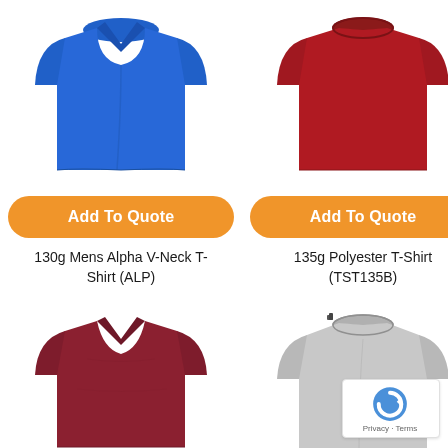[Figure (photo): Blue v-neck t-shirt on white background]
[Figure (photo): Dark red crew-neck t-shirt on white background]
Add To Quote
Add To Quote
130g Mens Alpha V-Neck T-Shirt (ALP)
135g Polyester T-Shirt (TST135B)
[Figure (photo): Maroon v-neck t-shirt on white background]
[Figure (photo): Light grey crew-neck t-shirt on white background]